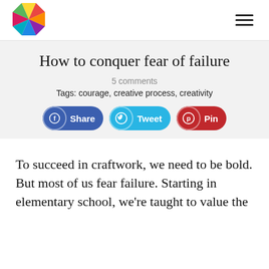[Figure (logo): Colorful octagonal geometric logo made of interlocking colored ribbons (red, green, yellow, blue, purple, orange)]
≡
How to conquer fear of failure
5 comments
Tags: courage, creative process, creativity
[Figure (infographic): Three social share buttons: Share (Facebook, blue), Tweet (Twitter, cyan), Pin (Pinterest, red)]
To succeed in craftwork, we need to be bold. But most of us fear failure. Starting in elementary school, we're taught to value the